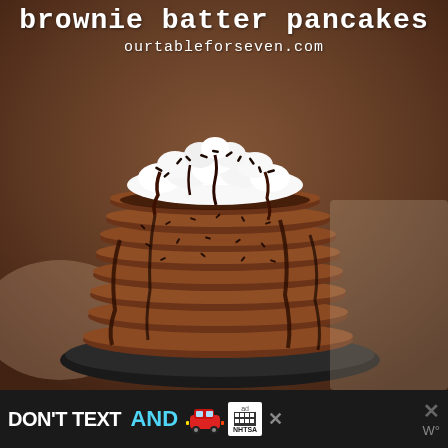brownie batter pancakes
ourtableforseven.com
[Figure (photo): Stack of chocolate brownie batter pancakes topped with whipped cream, chocolate sprinkles, and chocolate sauce drizzle, presented on a dark decorative plate]
[Figure (infographic): Advertisement banner with text DON'T TEXT AND featuring a red car emoji, ad badge, NHTSA logo, close X button, and W degree symbol]